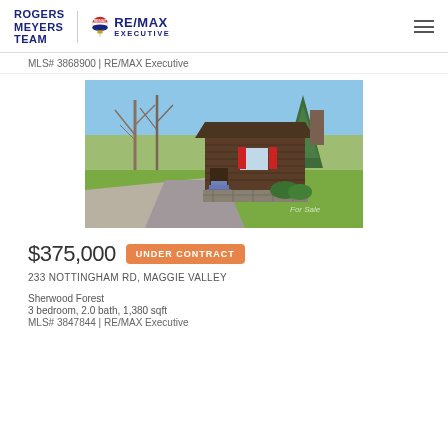ROGERS MEYERS TEAM | RE/MAX EXECUTIVE
MLS# 3868900 | RE/MAX Executive
[Figure (photo): Exterior photo of a log cabin with green lawn, bare trees, blue sky, and stone chimney. Red shutters visible. Gravel driveway. Watermark: For Sale.]
$375,000  UNDER CONTRACT
233 NOTTINGHAM RD, MAGGIE VALLEY
Sherwood Forest
3 bedroom, 2.0 bath, 1,380 sqft
MLS# 3847844 | RE/MAX Executive